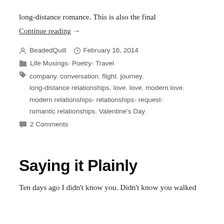long-distance romance. This is also the final
Continue reading  →
BeadedQuill   February 16, 2014
Life Musings, Poetry, Travel
company, conversation, flight, journey, long-distance relationships, love, love, modern love, modern relationships, relationships, request, romantic relationships, Valentine's Day
2 Comments
Saying it Plainly
Ten days ago I didn't know you. Didn't know you walked